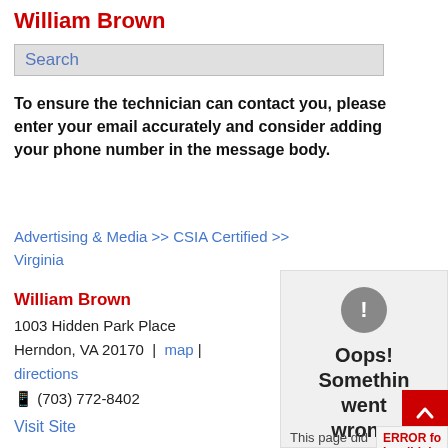William Brown
Search
To ensure the technician can contact you, please enter your email accurately and consider adding your phone number in the message body.
Advertising & Media >> CSIA Certified >> Virginia
William Brown
1003 Hidden Park Place
Herndon, VA 20170 | map | directions
☎ (703) 772-8402
[Figure (infographic): Error panel showing exclamation icon in grey circle, text 'Oops! Something went wrong.', and partial text 'This page did load Google']
Visit Site
ERROR for Invalid do